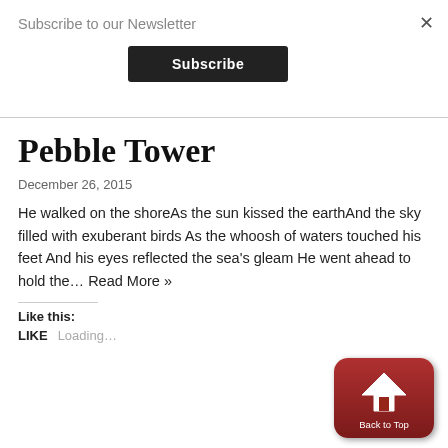Subscribe to our Newsletter
Subscribe
Pebble Tower
December 26, 2015
He walked on the shoreAs the sun kissed the earthAnd the sky filled with exuberant birds As the whoosh of waters touched his feet And his eyes reflected the sea's gleam He went ahead to hold the... Read More »
Like this:
LIKE   Loading...
[Figure (illustration): Red 'Back to Top' button with an upward arrow icon]